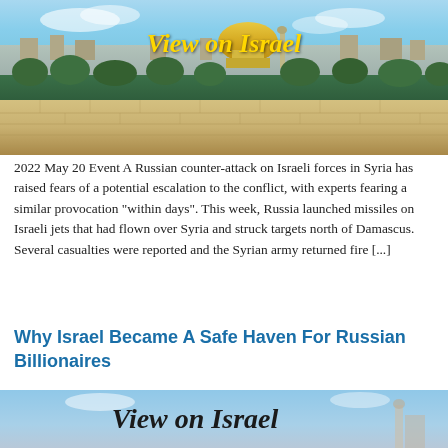[Figure (photo): Aerial/panoramic photo of Jerusalem skyline with golden Dome of the Rock visible, stone walls in foreground, trees and buildings in background under blue sky. Text 'View on Israel' overlaid in yellow cursive font.]
2022 May 20 Event A Russian counter-attack on Israeli forces in Syria has raised fears of a potential escalation to the conflict, with experts fearing a similar provocation “within days”. This week, Russia launched missiles on Israeli jets that had flown over Syria and struck targets north of Damascus. Several casualties were reported and the Syrian army returned fire [...]
Why Israel Became A Safe Haven For Russian Billionaires
[Figure (photo): Partial view of another Jerusalem skyline photo with 'View on Israel' text in cursive black font, blue sky background.]